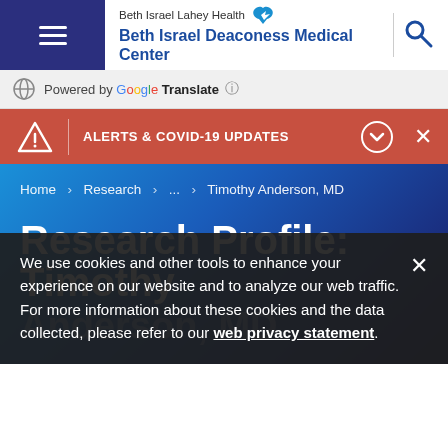Beth Israel Lahey Health Beth Israel Deaconess Medical Center
Powered by Google Translate
ALERTS & COVID-19 UPDATES
Home > Research > ... > Timothy Anderson, MD
Research Profile: Timothy Anderson, MD
We use cookies and other tools to enhance your experience on our website and to analyze our web traffic. For more information about these cookies and the data collected, please refer to our web privacy statement.